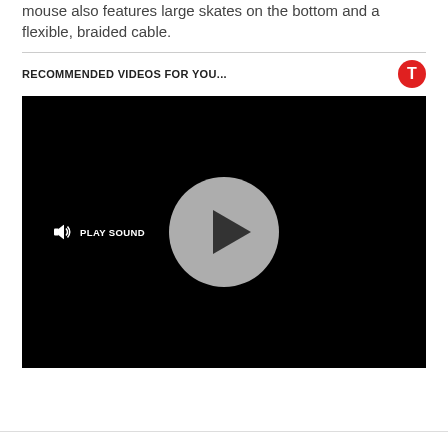mouse also features large skates on the bottom and a flexible, braided cable.
RECOMMENDED VIDEOS FOR YOU...
[Figure (screenshot): Video player with black background, a large circular gray play button in the center, and a 'Play Sound' button with speaker icon in the lower left.]